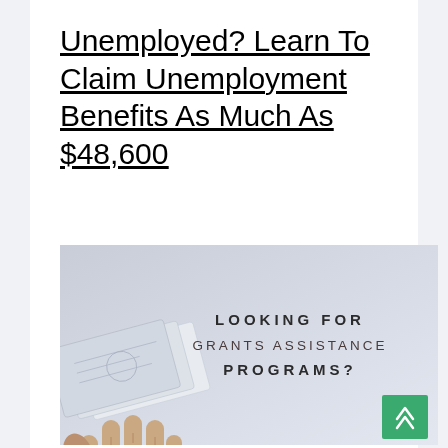Unemployed? Learn To Claim Unemployment Benefits As Much As $48,600
[Figure (photo): Promotional image showing a hand holding money/cash with text overlay: 'LOOKING FOR GRANTS ASSISTANCE PROGRAMS?' and a green scroll-up button in the bottom right corner.]